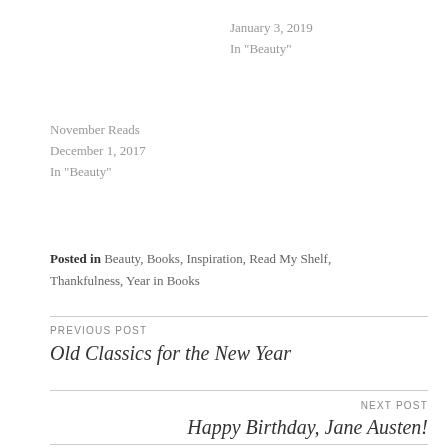January 3, 2019
In "Beauty"
November Reads
December 1, 2017
In "Beauty"
Posted in Beauty, Books, Inspiration, Read My Shelf, Thankfulness, Year in Books
PREVIOUS POST
Old Classics for the New Year
NEXT POST
Happy Birthday, Jane Austen!